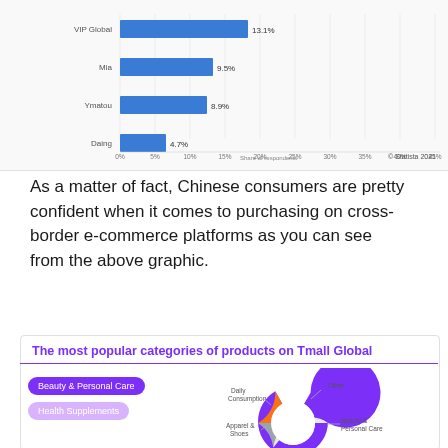[Figure (bar-chart): Share of respondents (cross-border e-commerce platforms)]
As a matter of fact, Chinese consumers are pretty confident when it comes to purchasing on cross-border e-commerce platforms as you can see from the above graphic.
[Figure (donut-chart): The most popular categories of products on Tmall Global]